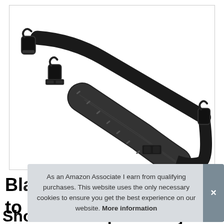[Figure (photo): Product photo of a black padded shoulder strap with two metal/plastic swivel hooks on each end and an adjustable sliding buckle, shown on a white background inside a thin gray-bordered rectangle.]
As an Amazon Associate I earn from qualifying purchases. This website uses the only necessary cookies to ensure you get the best experience on our website. More information
Bla
to
Shoulder Strap with Adjustable, Thick